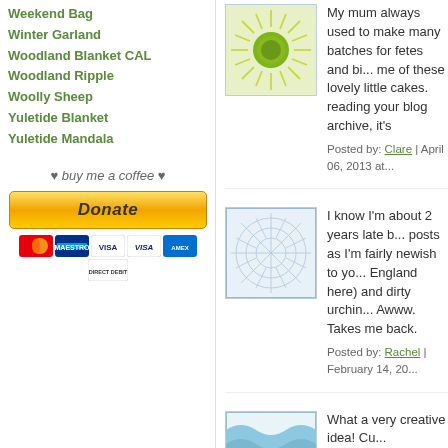Weekend Bag
Winter Garland
Woodland Blanket CAL
Woodland Ripple
Woolly Sheep
Yuletide Blanket
Yuletide Mandala
♥ buy me a coffee ♥
[Figure (other): Donate button with payment card icons]
My mum always used to make many batches for fetes and bi... me of these lovely little cakes. reading your blog archive, it's
Posted by: Clare | April 06, 2013 at...
I know I'm about 2 years late b... posts as I'm fairly newish to yo... England here) and dirty urchin... Awww. Takes me back.
Posted by: Rachel | February 14, 20...
What a very creative idea! Cu... something so fancy on it.
Posted by: dining room table | Octo...
love your blog, I follow it all the... chrocheting again after many ... you in my blog and put you in... work. My blog called dotties d... clothes.